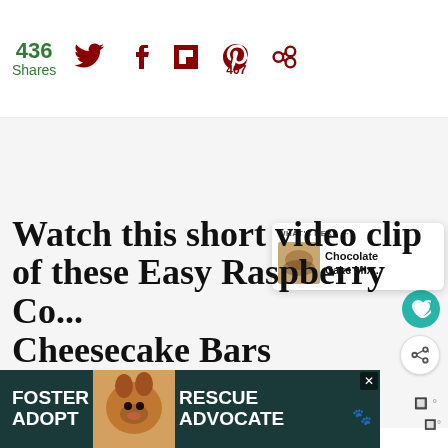436 Shares
[Figure (screenshot): Social share bar with Twitter, Facebook, Flipboard, Pinterest (407), and another icon]
[Figure (screenshot): Advertisement area (gray/white blank ad space) with Moat badge in bottom right]
[Figure (screenshot): Teal heart favorite button and share button (floating action buttons on right side)]
[Figure (screenshot): What's Next panel: Chocolate Cake Mix... with thumbnail]
Watch this short video clip of these Easy Raspberry Co... Cheesecake Bars
[Figure (screenshot): Bottom advertisement banner: FOSTER ADOPT / RESCUE ADVOCATE with dog image, close button, and Moat badge]